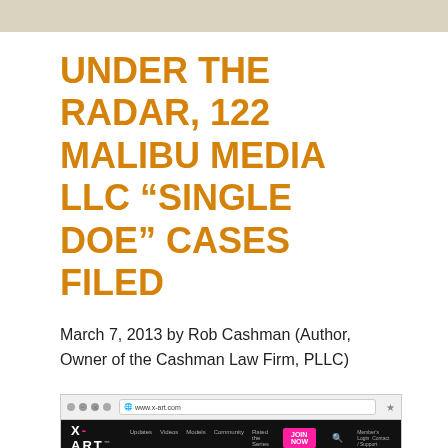UNDER THE RADAR, 122 MALIBU MEDIA LLC “SINGLE DOE” CASES FILED
March 7, 2013 by Rob Cashman (Author, Owner of the Cashman Law Firm, PLLC)
[Figure (screenshot): Screenshot of the X-Art website (www.x-art.com) showing the browser address bar and the site's navigation bar with logo, menu links (Updates, Videos, Models, Community, Rated the Series), a pink JOIN NOW button, search icon, and member login links, against a black background.]